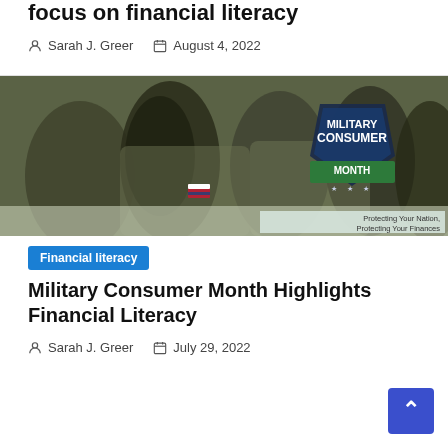focus on financial literacy
Sarah J. Greer  August 4, 2022
[Figure (photo): Group of military soldiers in camouflage uniforms seated in rows, with a Military Consumer Month shield badge overlay reading 'Protecting Your Nation, Protecting Your Finances']
Financial literacy
Military Consumer Month Highlights Financial Literacy
Sarah J. Greer  July 29, 2022